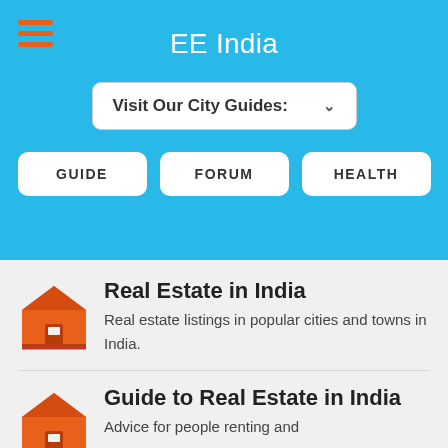EE India
Visit Our City Guides:
GUIDE
FORUM
HEALTH
Real Estate in India
Real estate listings in popular cities and towns in India.
Guide to Real Estate in India
Advice for people renting and